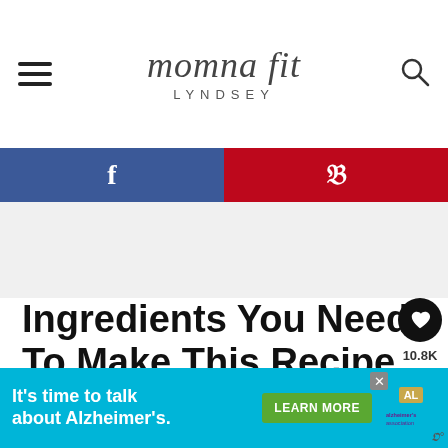momna fit LYNDSEY
[Figure (infographic): Social sharing bar with Facebook (blue) and Pinterest (red) buttons]
[Figure (other): Gray advertisement region placeholder]
Ingredients You Need To Make This Recipe
Here are the ingredients you need to make this recipe. Reference the recipe ca...
[Figure (infographic): Bottom advertisement banner: It's time to talk about Alzheimer's. LEARN MORE. Alzheimer's Association logo. Close button.]